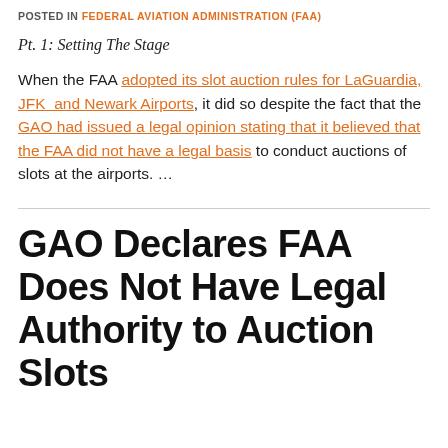POSTED IN FEDERAL AVIATION ADMINISTRATION (FAA)
Pt. 1: Setting The Stage
When the FAA adopted its slot auction rules for LaGuardia, JFK  and Newark Airports, it did so despite the fact that the GAO had issued a legal opinion stating that it believed that the FAA did not have a legal basis to conduct auctions of slots at the airports. …
GAO Declares FAA Does Not Have Legal Authority to Auction Slots